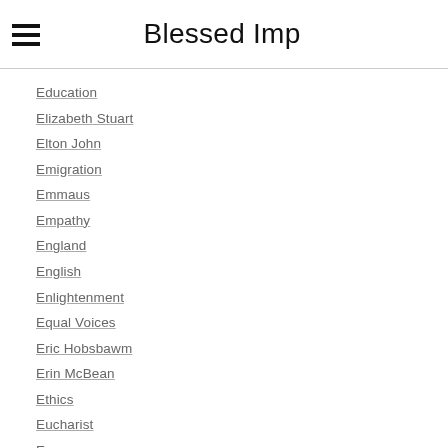Blessed Imp
Education
Elizabeth Stuart
Elton John
Emigration
Emmaus
Empathy
England
English
Enlightenment
Equal Voices
Eric Hobsbawm
Erin McBean
Ethics
Eucharist
Europe
Evangelical
Evangelism
Experience